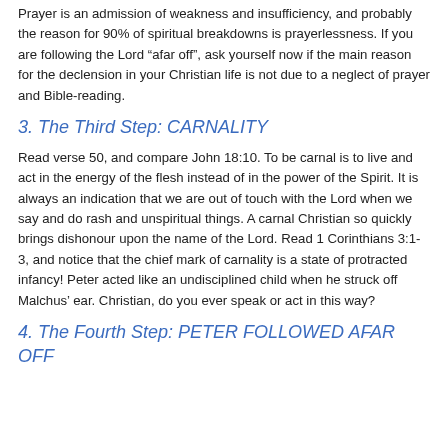Prayer is an admission of weakness and insufficiency, and probably the reason for 90% of spiritual breakdowns is prayerlessness. If you are following the Lord “afar off”, ask yourself now if the main reason for the declension in your Christian life is not due to a neglect of prayer and Bible-reading.
3. The Third Step: CARNALITY
Read verse 50, and compare John 18:10. To be carnal is to live and act in the energy of the flesh instead of in the power of the Spirit. It is always an indication that we are out of touch with the Lord when we say and do rash and unspiritual things. A carnal Christian so quickly brings dishonour upon the name of the Lord. Read 1 Corinthians 3:1-3, and notice that the chief mark of carnality is a state of protracted infancy! Peter acted like an undisciplined child when he struck off Malchus’ ear. Christian, do you ever speak or act in this way?
4. The Fourth Step: PETER FOLLOWED AFAR OFF